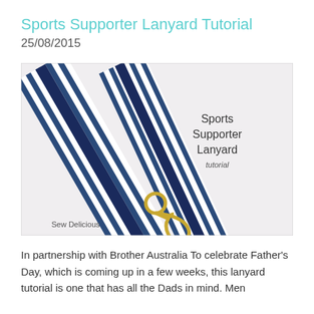Sports Supporter Lanyard Tutorial
25/08/2015
[Figure (photo): A sports supporter lanyard made from blue and white striped fabric with a navy blue ribbon accent, featuring a gold carabiner clip and key ring at the bottom. Text overlay reads 'Sports Supporter Lanyard tutorial'. Watermark 'Sew Delicious' in bottom left corner.]
In partnership with Brother Australia To celebrate Father's Day, which is coming up in a few weeks, this lanyard tutorial is one that has all the Dads in mind. Men